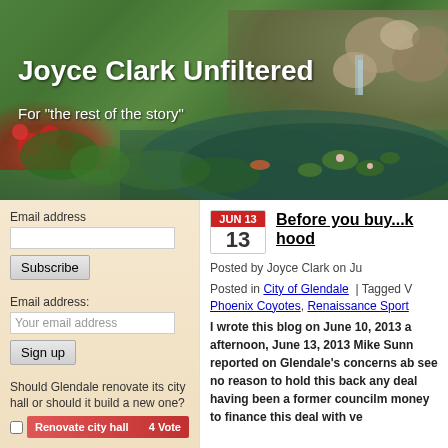[Figure (photo): Header banner photo of a garden pond with rocks, water lilies, and flowers. Overlaid with the blog title 'Joyce Clark Unfiltered' and subtitle 'For "the rest of the story"'.]
Joyce Clark Unfiltered
For "the rest of the story"
Email address
Subscribe
Email address:
Your email address
Sign up
Should Glendale renovate its city hall or should it build a new one?
Renovate city hall   4 Vote
Before you buy...k hood
Posted by Joyce Clark on Ju
Posted in City of Glendale | Tagged V Phoenix Coyotes, Renaissance Sport
I wrote this blog on June 10, 2013 a afternoon, June 13, 2013 Mike Sunn reported on Glendale's concerns ab see no reason to hold this back any deal having been a former councilm money to finance this deal with ve